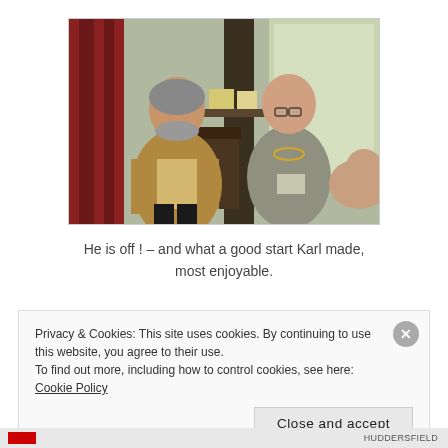[Figure (photo): Two men standing indoors. On the left, an older man with a beard wearing a tan jacket and plaid shirt. On the right, a bald man wearing glasses and a grey short-sleeve shirt with a gold chain/medallion, holding a booklet. Red curtain and large windows visible in background.]
He is off ! – and what a good start Karl made, most enjoyable.
Privacy & Cookies: This site uses cookies. By continuing to use this website, you agree to their use.
To find out more, including how to control cookies, see here: Cookie Policy